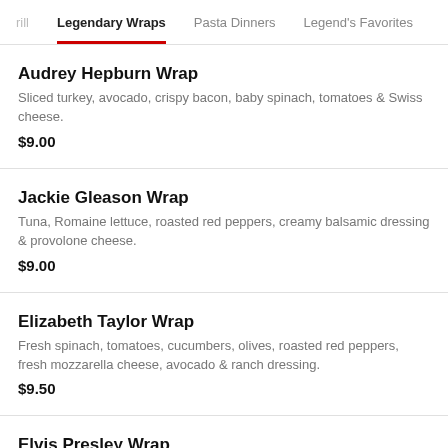rill   Legendary Wraps   Pasta Dinners   Legend's Favorites
Audrey Hepburn Wrap
Sliced turkey, avocado, crispy bacon, baby spinach, tomatoes & Swiss cheese.
$9.00
Jackie Gleason Wrap
Tuna, Romaine lettuce, roasted red peppers, creamy balsamic dressing & provolone cheese.
$9.00
Elizabeth Taylor Wrap
Fresh spinach, tomatoes, cucumbers, olives, roasted red peppers, fresh mozzarella cheese, avocado & ranch dressing.
$9.50
Elvis Presley Wrap
Chicken cutlet, bacon, cheddar cheese, lettuce, tomatoes & honey mustard...